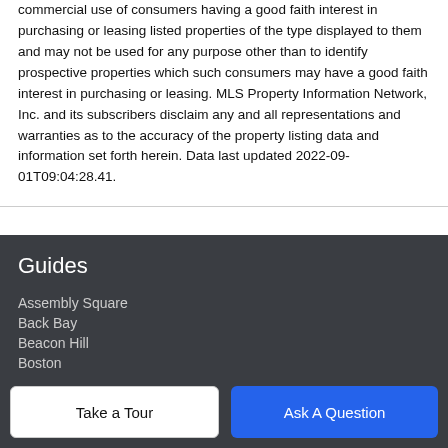commercial use of consumers having a good faith interest in purchasing or leasing listed properties of the type displayed to them and may not be used for any purpose other than to identify prospective properties which such consumers may have a good faith interest in purchasing or leasing. MLS Property Information Network, Inc. and its subscribers disclaim any and all representations and warranties as to the accuracy of the property listing data and information set forth herein. Data last updated 2022-09-01T09:04:28.41.
Guides
Assembly Square
Back Bay
Beacon Hill
Boston
Cambridge
More Guides ›
Take a Tour
Ask A Question